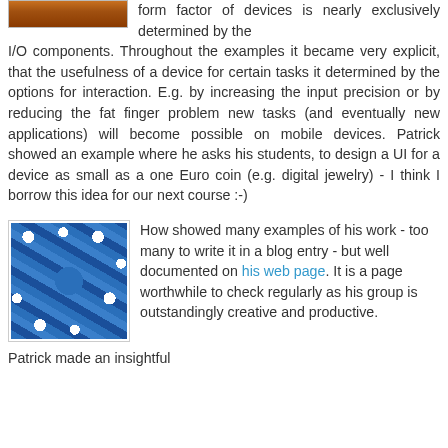[Figure (photo): Partial photo at top left, appears to show an animal (brown/orange tones), cropped]
form factor of devices is nearly exclusively determined by the I/O components. Throughout the examples it became very explicit, that the usefulness of a device for certain tasks it determined by the options for interaction. E.g. by increasing the input precision or by reducing the fat finger problem new tasks (and eventually new applications) will become possible on mobile devices. Patrick showed an example where he asks his students, to design a UI for a device as small as a one Euro coin (e.g. digital jewelry) - I think I borrow this idea for our next course :-)
[Figure (photo): Photo of a decorative tile or textile pattern with blue, white, and tan/brown floral star shapes in a repeating geometric pattern]
How showed many examples of his work - too many to write it in a blog entry - but well documented on his web page. It is a page worthwhile to check regularly as his group is outstandingly creative and productive.
Patrick made an insightful